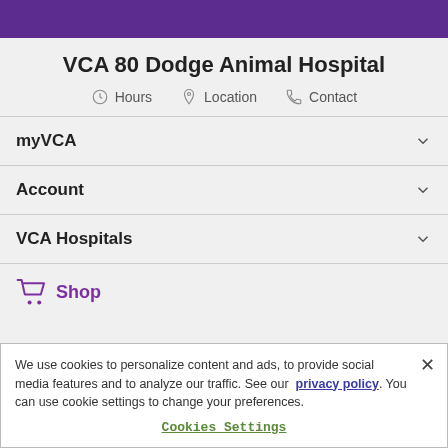VCA 80 Dodge Animal Hospital
Hours  Location  Contact
myVCA
Account
VCA Hospitals
Shop
We use cookies to personalize content and ads, to provide social media features and to analyze our traffic. See our privacy policy. You can use cookie settings to change your preferences.
Cookies Settings